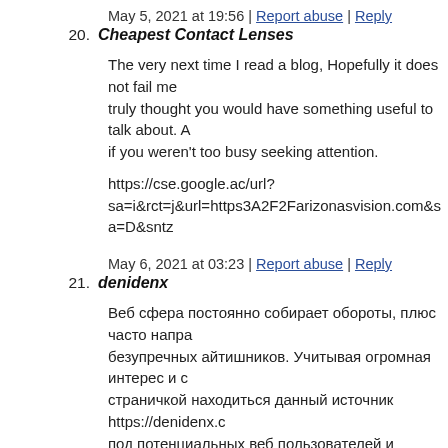May 5, 2021 at 19:56 | Report abuse | Reply
20. Cheapest Contact Lenses
The very next time I read a blog, Hopefully it does not fail me truly thought you would have something useful to talk about. A if you weren't too busy seeking attention.
https://cse.google.ac/url?sa=i&rct=j&url=https3A2F2Farizonasvision.com&sa=D&sntz
May 6, 2021 at 03:23 | Report abuse | Reply
21. denidenx
Веб сфера постоянно собирает обороты, плюс часто напра безупречных айтишников. Учитывая огромная интерес и с страничкой находиться данный источник https://denidenx.c под потенциальных веб пользователей и всякого юзера, то писать код. Здесь на сайте участник имеет возможность пр действительный онлайн-верстальщик, каков вовсе не лиш хистрости и составляет персональные предложения для пе программирование, SEO, Вордпресс, Linux, тренировки и практичную исходные данные. Качественный содержание, веб- программировании можно получить в главном сайте,
May 6, 2021 at 04:58 | Report abuse | Reply